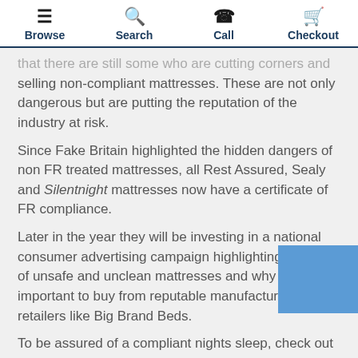Browse | Search | Call | Checkout
that there are still some who are cutting corners and selling non-compliant mattresses. These are not only dangerous but are putting the reputation of the industry at risk.
Since Fake Britain highlighted the hidden dangers of non FR treated mattresses, all Rest Assured, Sealy and Silentnight mattresses now have a certificate of FR compliance.
Later in the year they will be investing in a national consumer advertising campaign highlighting the risks of unsafe and unclean mattresses and why it is important to buy from reputable manufacturers and retailers like Big Brand Beds.
To be assured of a compliant nights sleep, check out our Sealy divan beds and Silentnight beds online toady.